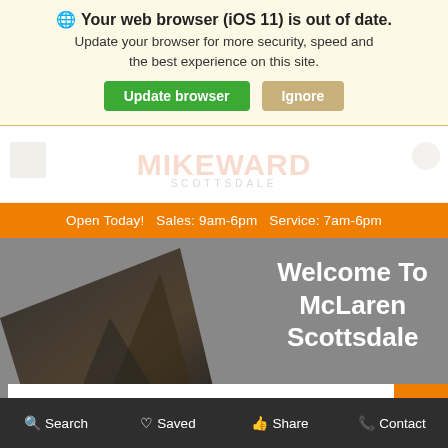Your web browser (iOS 11) is out of date. Update your browser for more security, speed and the best experience on this site.
Update browser
Ignore
[Figure (screenshot): Faded dealership header with MIKEWARD SCOTTSDALE text partially visible in background]
Open Today!   Sales: 9am-6pm   Service: 7am-6pm
Welcome To McLaren Scottsdale
[Figure (photo): Dark car hood/fin visible against grey background hero image]
Search   Saved   Share   Contact